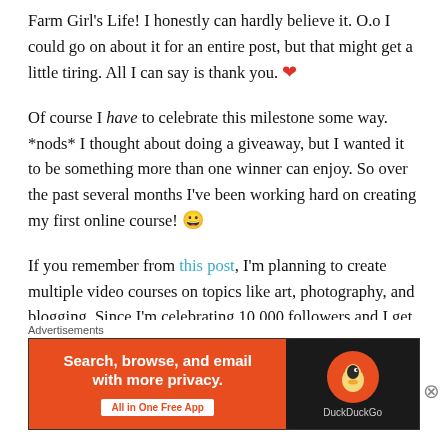Farm Girl's Life! I honestly can hardly believe it. O.o I could go on about it for an entire post, but that might get a little tiring. All I can say is thank you. ❤
Of course I have to celebrate this milestone some way. *nods* I thought about doing a giveaway, but I wanted it to be something more than one winner can enjoy. So over the past several months I've been working hard on creating my first online course! 😀
If you remember from this post, I'm planning to create multiple video courses on topics like art, photography, and blogging. Since I'm celebrating 10,000 followers and I get comments/emails asking for blogging advice, I
Advertisements
[Figure (screenshot): DuckDuckGo advertisement banner: orange left section with text 'Search, browse, and email with more privacy. All in One Free App' button; dark right section with DuckDuckGo logo and duck icon.]